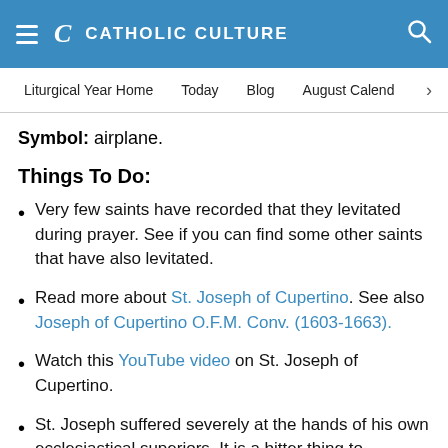CATHOLIC CULTURE
Liturgical Year Home | Today | Blog | August Calendar
Symbol: airplane.
Things To Do:
Very few saints have recorded that they levitated during prayer. See if you can find some other saints that have also levitated.
Read more about St. Joseph of Cupertino. See also Joseph of Cupertino O.F.M. Conv. (1603-1663).
Watch this YouTube video on St. Joseph of Cupertino.
St. Joseph suffered severely at the hands of his own ecclesiastical superiors. It is a bitter thing to